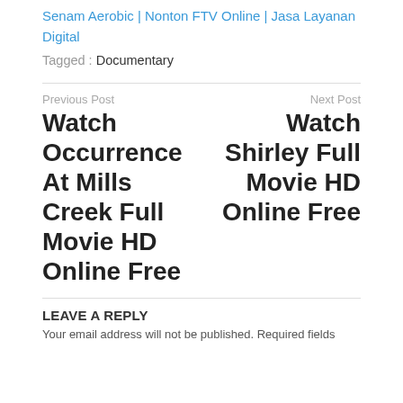Senam Aerobic | Nonton FTV Online | Jasa Layanan Digital
Tagged : Documentary
Previous Post
Watch Occurrence At Mills Creek Full Movie HD Online Free
Next Post
Watch Shirley Full Movie HD Online Free
LEAVE A REPLY
Your email address will not be published. Required fields